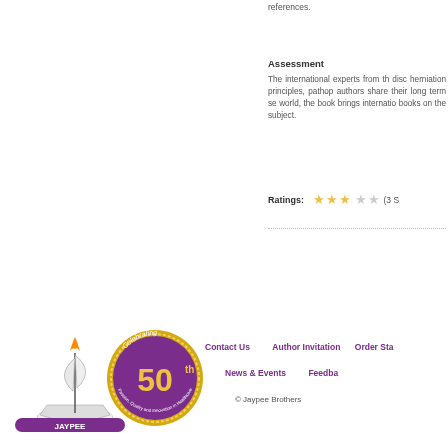references.
Assessment
The international experts from the disc herniation principles, pathop authors share their long term se world, the book brings internatio books on the subject.
Ratings:  ★★★☆☆  (3 S
[Figure (logo): Jaypee Brothers publisher logo with ship illustration and Celebrating 50 years gold/purple badge]
Contact Us    Author Invitation    Order Sta    News & Events    Feedba    © Jaypee Brothers